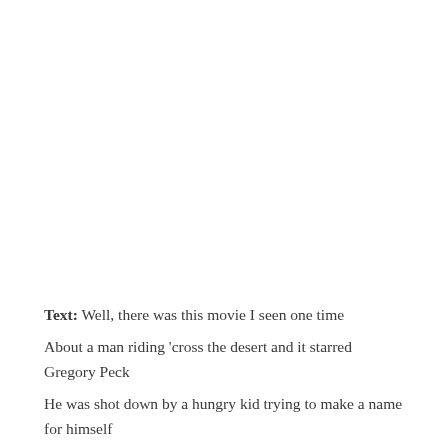Text: Well, there was this movie I seen one time
About a man riding ‘cross the desert and it starred Gregory Peck
He was shot down by a hungry kid trying to make a name for himself